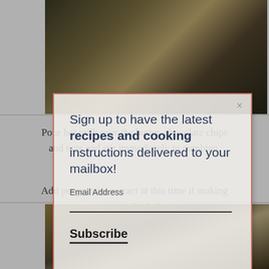[Figure (photo): Photo of a cooking pan on a stovetop with bubbling liquid, viewed from above.]
Pour hot milk over the butter, chocolate chips and nuts and stir immediately to combine.
Add peppermint extract at this time if making peppermint fudge.
[Figure (photo): Photo of a bowl with ingredients being mixed, with a whisk or spatula visible.]
[Figure (screenshot): Email subscription modal overlay with text: Sign up to have the latest recipes and cooking instructions delivered to your mailbox! With Email Address field and Subscribe button.]
Sign up to have the latest recipes and cooking instructions delivered to your mailbox!
Email Address
Subscribe